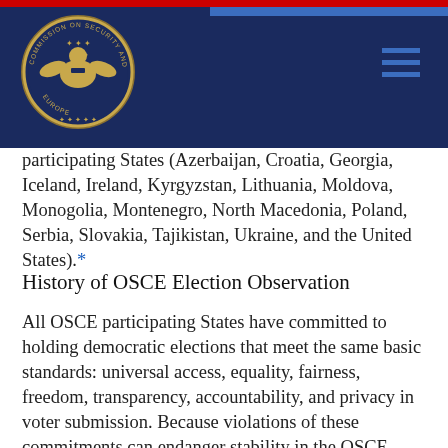Commission on Security and Cooperation in Europe (OSCE) header with seal and navigation
participating States (Azerbaijan, Croatia, Georgia, Iceland, Ireland, Kyrgyzstan, Lithuania, Moldova, Monogolia, Montenegro, North Macedonia, Poland, Serbia, Slovakia, Tajikistan, Ukraine, and the United States).*
History of OSCE Election Observation
All OSCE participating States have committed to holding democratic elections that meet the same basic standards: universal access, equality, fairness, freedom, transparency, accountability, and privacy in voter submission. Because violations of these commitments can endanger stability in the OSCE region, as well as within an individual country, OSCE nations also agreed to open their elections to observers from other